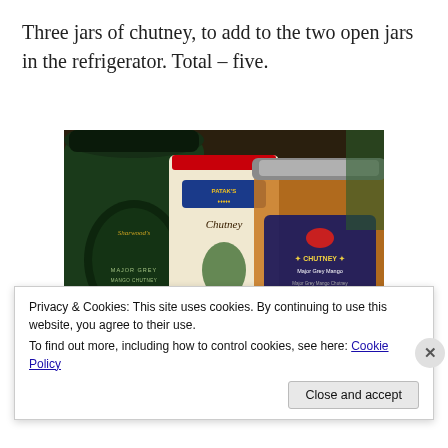Three jars of chutney, to add to the two open jars in the refrigerator. Total – five.
[Figure (photo): Three jars of chutney: Sharwood's Major Grey on the left (dark green jar), a Patak's Coriander Chutney in the centre (cream/white jar), and a Major Grey Mango Chutney on the right (glass jar with orange contents).]
Privacy & Cookies: This site uses cookies. By continuing to use this website, you agree to their use.
To find out more, including how to control cookies, see here: Cookie Policy